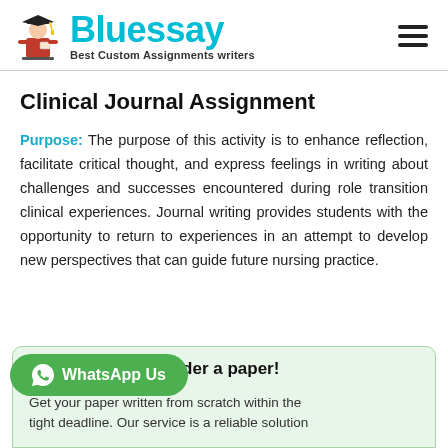[Figure (logo): Bluessay logo with graduation figure icon, teal 'Bluessay' text, and tagline 'Best Custom Assignments writers']
Clinical Journal Assignment
Purpose: The purpose of this activity is to enhance reflection, facilitate critical thought, and express feelings in writing about challenges and successes encountered during role transition clinical experiences. Journal writing provides students with the opportunity to return to experiences in an attempt to develop new perspectives that can guide future nursing practice.
Save your time - order a paper!
Get your paper written from scratch within the tight deadline. Our service is a reliable solution
[Figure (other): WhatsApp Us green button with WhatsApp icon]